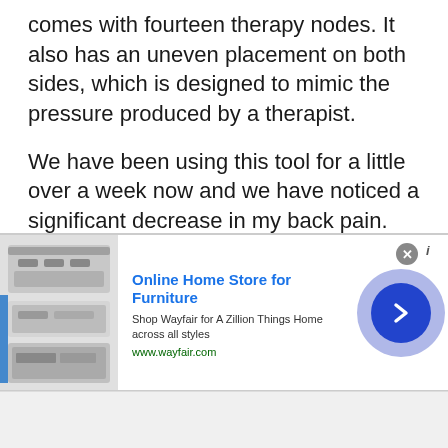comes with fourteen therapy nodes. It also has an uneven placement on both sides, which is designed to mimic the pressure produced by a therapist.
We have been using this tool for a little over a week now and we have noticed a significant decrease in my back pain. The massage feels great and it's really easy to use. I would definitely recommend this tool to anyone who
Pros
[Figure (screenshot): Advertisement banner for Wayfair Online Home Store for Furniture, showing product image on left, ad text in center, and a blue arrow button on right. Close button (x) visible. Text reads: 'Online Home Store for Furniture', 'Shop Wayfair for A Zillion Things Home across all styles', 'www.wayfair.com']